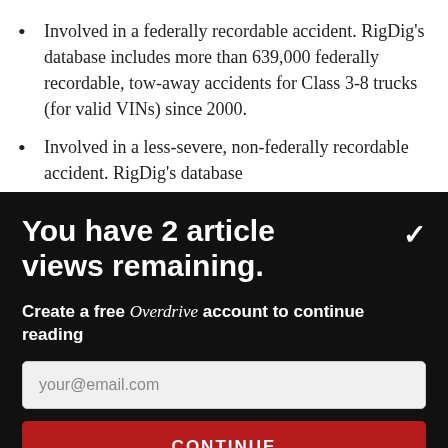Involved in a federally recordable accident. RigDig's database includes more than 639,000 federally recordable, tow-away accidents for Class 3-8 trucks (for valid VINs) since 2000.
Involved in a less-severe, non-federally recordable accident. RigDig's database
You have 2 article views remaining.
Create a free Overdrive account to continue reading
your@email.com
CONTINUE